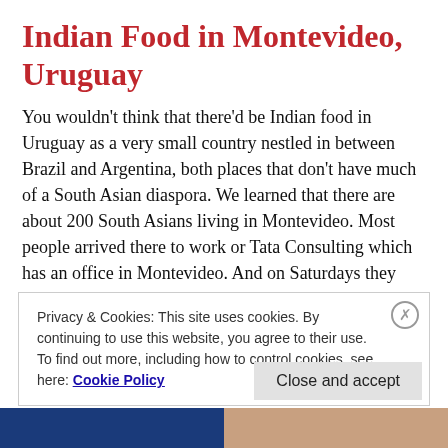Indian Food in Montevideo, Uruguay
You wouldn't think that there'd be Indian food in Uruguay as a very small country nestled in between Brazil and Argentina, both places that don't have much of a South Asian diaspora. We learned that there are about 200 South Asians living in Montevideo. Most people arrived there to work or Tata Consulting which has an office in Montevideo. And on Saturdays they play cricket … Continue reading
NOVEMBER 5, 2018
Privacy & Cookies: This site uses cookies. By continuing to use this website, you agree to their use.
To find out more, including how to control cookies, see here: Cookie Policy
Close and accept